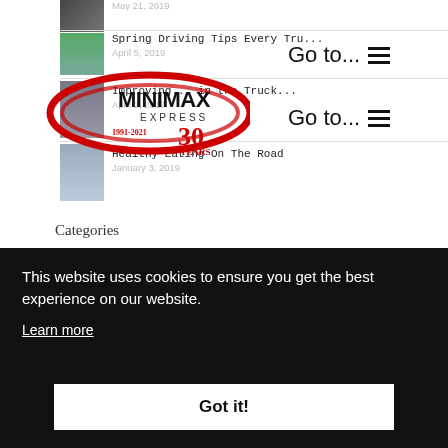[Figure (screenshot): Blog post thumbnail showing dark image]
May 21, 2019
Spring Driving Tips Every Tru...
April 5, 2019
[Figure (logo): Minimax Express logo with 1991-2021 30 Years text]
Improving... in the Truck...
April 2, 2019
Healthy Eating On The Road
January 3, 2019
Go to...
Go to...
Categories
This website uses cookies to ensure you get the best experience on our website.
Learn more
Got it!
Freight (2)